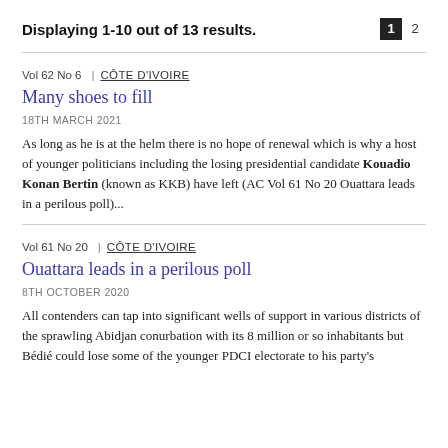Displaying 1-10 out of 13 results.
Vol 62 No 6 | CÔTE D'IVOIRE
Many shoes to fill
18TH MARCH 2021
As long as he is at the helm there is no hope of renewal which is why a host of younger politicians including the losing presidential candidate Kouadio Konan Bertin (known as KKB) have left (AC Vol 61 No 20 Ouattara leads in a perilous poll)...
Vol 61 No 20 | CÔTE D'IVOIRE
Ouattara leads in a perilous poll
8TH OCTOBER 2020
All contenders can tap into significant wells of support in various districts of the sprawling Abidjan conurbation with its 8 million or so inhabitants but Bédié could lose some of the younger PDCI electorate to his party's